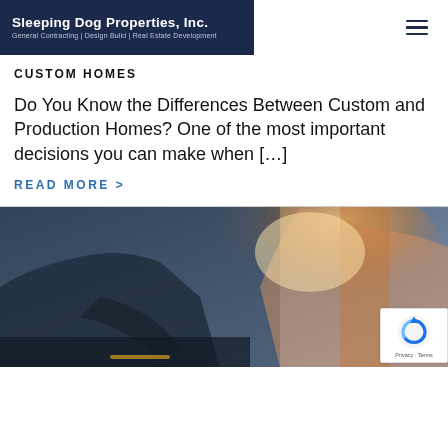Sleeping Dog Properties, Inc. General Contracting | Design Build | Real Estate Development
CUSTOM HOMES
Do You Know the Differences Between Custom and Production Homes? One of the most important decisions you can make when […]
READ MORE >
[Figure (photo): Construction worker at a job site, viewed from below with warm backlight.]